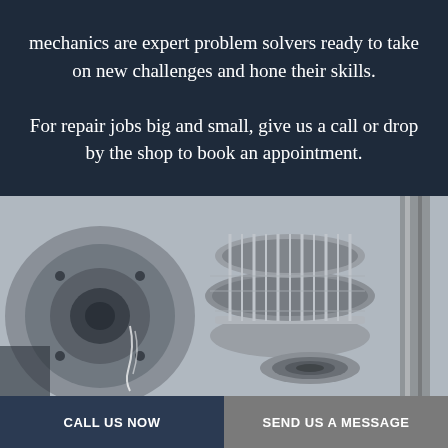mechanics are expert problem solvers ready to take on new challenges and hone their skills.

For repair jobs big and small, give us a call or drop by the shop to book an appointment.
[Figure (photo): Close-up photograph of automotive mechanical parts including gears, transmission components, and metal machinery in black and white/silver tones.]
CALL US NOW
SEND US A MESSAGE